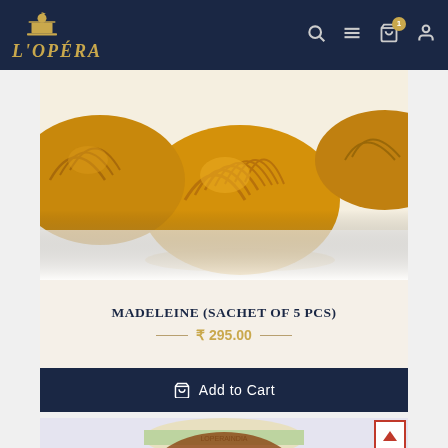L'OPÉRA navigation header with logo, search, menu, cart (1 item), and account icons
[Figure (photo): Close-up photo of golden-brown French madeleines (shell-shaped sponge cakes) on a white background]
MADELEINE (SACHET OF 5 PCS)
₹ 295.00
Add to Cart
[Figure (photo): Partial view of a L'Opera branded jar/container with green and beige label on a light purple/lavender background, with a red back-to-top arrow button in the top right corner]